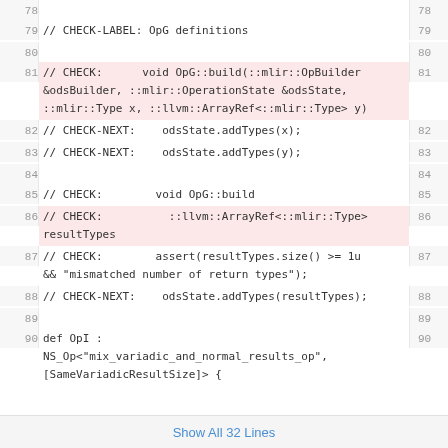[Figure (screenshot): Code viewer showing lines 78-94 of a source file with syntax highlighted code. Lines 81 and 86 are highlighted in pink/red. The code contains CHECK-LABEL, CHECK, and CHECK-NEXT directives as well as an OpI definition.]
Show All 32 Lines